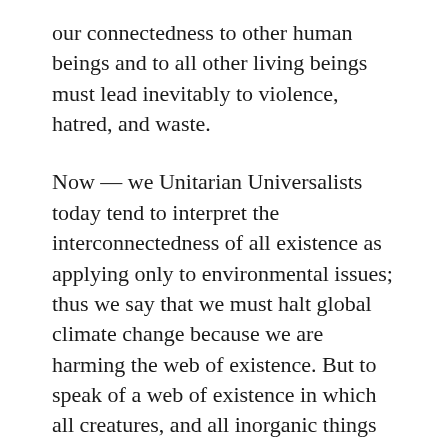our connectedness to other human beings and to all other living beings must lead inevitably to violence, hatred, and waste.
Now — we Unitarian Universalists today tend to interpret the interconnectedness of all existence as applying only to environmental issues; thus we say that we must halt global climate change because we are harming the web of existence. But to speak of a web of existence in which all creatures, and all inorganic things as well, are interconnected, means that we are connected not just with polar bears and whales, but also with all other human beings. The implications of this are profound: we do not own polar bears or whales;